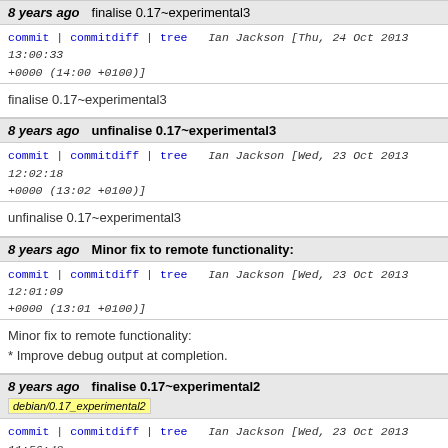8 years ago | finalise 0.17~experimental3
commit | commitdiff | tree  Ian Jackson [Thu, 24 Oct 2013 13:00:33 +0000 (14:00 +0100)]
finalise 0.17~experimental3
8 years ago | unfinalise 0.17~experimental3
commit | commitdiff | tree  Ian Jackson [Wed, 23 Oct 2013 12:02:18 +0000 (13:02 +0100)]
unfinalise 0.17~experimental3
8 years ago | Minor fix to remote functionality:
commit | commitdiff | tree  Ian Jackson [Wed, 23 Oct 2013 12:01:09 +0000 (13:01 +0100)]
Minor fix to remote functionality:
* Improve debug output at completion.
8 years ago | finalise 0.17~experimental2
debian/0.17_experimental2
commit | commitdiff | tree  Ian Jackson [Wed, 23 Oct 2013 11:56:48 +0000 (12:56 +0100)]
finalise 0.17~experimental2